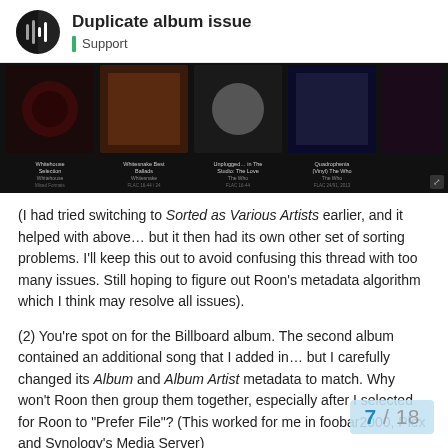Duplicate album issue — Support
[Figure (screenshot): A music library interface showing album covers in a dark horizontal strip: Whitehouse Selection, Whitesnake Best Ballads, Unplugged in The Studio: The Love, Quadrophenia (Vinyl) The Who, The Who Greatest Hits, Beethoven Symphonie #5 in, Southern Hemisphere Will.i.am, Women Of The World: Celtic Various Artists, The World Greatest Various Arti...]
(I had tried switching to Sorted as Various Artists earlier, and it helped with above… but it then had its own other set of sorting problems. I'll keep this out to avoid confusing this thread with too many issues. Still hoping to figure out Roon's metadata algorithm which I think may resolve all issues).
(2) You're spot on for the Billboard album. The second album contained an additional song that I added in… but I carefully changed its Album and Album Artist metadata to match. Why won't Roon then group them together, especially after I selected for Roon to "Prefer File"? (This worked for me in foobar2000, Plex and Synology's Media Server)
I've rescanned the Album. Also done these and Clean Up Library under Library Mainte
7 / 18